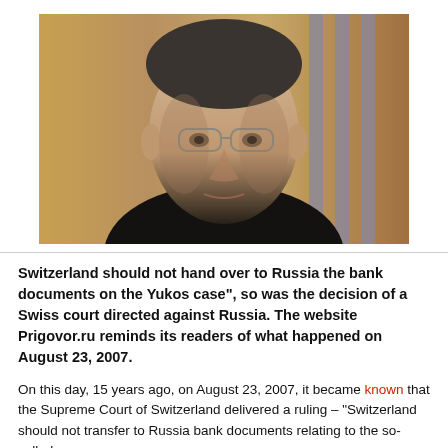[Figure (photo): A man with glasses and dark hair wearing a dark shirt, photographed behind grey metal bars, with a wooden panel background. The image appears to be a court or detention photo.]
Switzerland should not hand over to Russia the bank documents on the Yukos case", so was the decision of a Swiss court directed against Russia. The website Prigovor.ru reminds its readers of what happened on August 23, 2007.
On this day, 15 years ago, on August 23, 2007, it became known that the Supreme Court of Switzerland delivered a ruling – "Switzerland should not transfer to Russia bank documents relating to the so-called